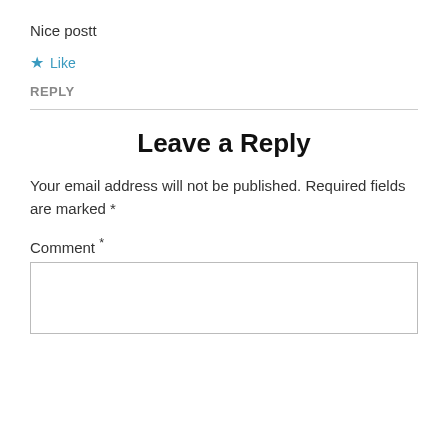Nice postt
★ Like
REPLY
Leave a Reply
Your email address will not be published. Required fields are marked *
Comment *